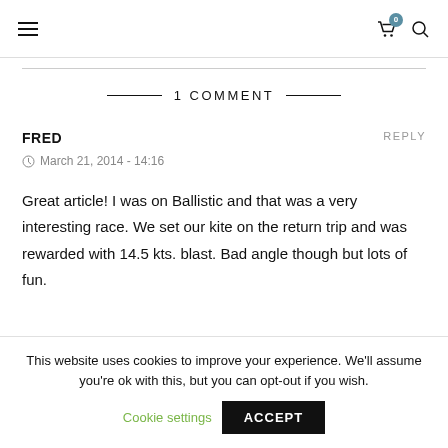≡  [cart 0] [search]
1 COMMENT
FRED
REPLY
March 21, 2014 - 14:16
Great article! I was on Ballistic and that was a very interesting race. We set our kite on the return trip and was rewarded with 14.5 kts. blast. Bad angle though but lots of fun.
This website uses cookies to improve your experience. We'll assume you're ok with this, but you can opt-out if you wish.
Cookie settings  ACCEPT